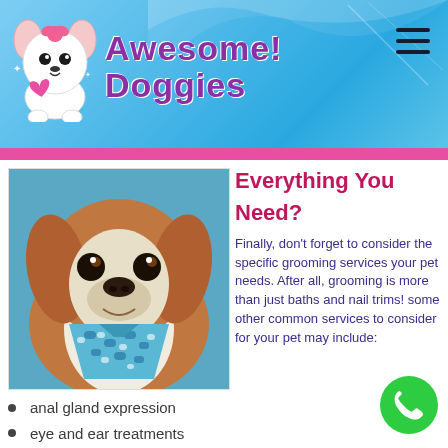[Figure (logo): Awesome! Doggies logo with cartoon dog holding a pink heart, blue gradient background, pink bottom bar, hamburger menu icon]
[Figure (photo): Cavalier King Charles Spaniel dog wearing a blue bandana with dog pattern, looking at camera]
Everything You Need?
Finally, don't forget to consider the specific grooming services your pet needs. After all, grooming is more than just baths and nail trims! some other common services to consider for your pet may include:
anal gland expression
eye and ear treatments
nails and paw pad moisturizing
[Figure (illustration): Green circle phone call button icon]